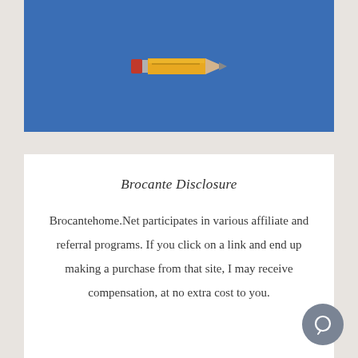[Figure (photo): Blue background image with a small pencil centered on it]
Brocante Disclosure
Brocantehome.Net participates in various affiliate and referral programs. If you click on a link and end up making a purchase from that site, I may receive compensation, at no extra cost to you.